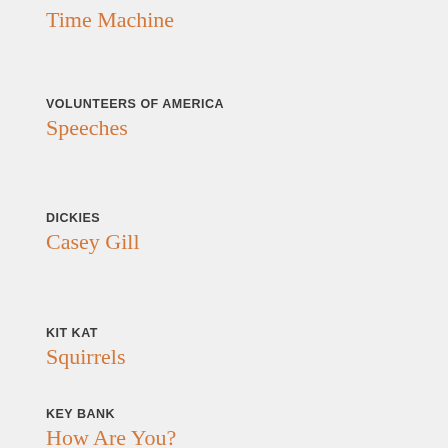Time Machine
VOLUNTEERS OF AMERICA
Speeches
DICKIES
Casey Gill
KIT KAT
Squirrels
KEY BANK
How Are You?